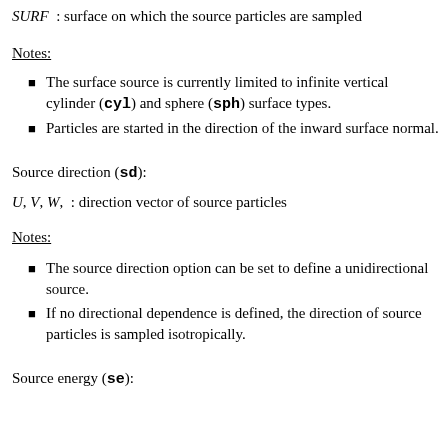SURF : surface on which the source particles are sampled
Notes:
The surface source is currently limited to infinite vertical cylinder (cyl) and sphere (sph) surface types.
Particles are started in the direction of the inward surface normal.
Source direction (sd):
U, V, W,  : direction vector of source particles
Notes:
The source direction option can be set to define a unidirectional source.
If no directional dependence is defined, the direction of source particles is sampled isotropically.
Source energy (se):